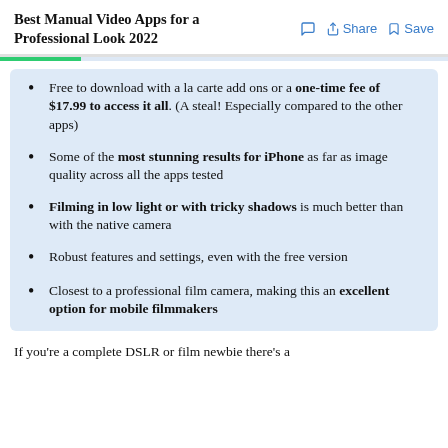Best Manual Video Apps for a Professional Look 2022
Free to download with a la carte add ons or a one-time fee of $17.99 to access it all. (A steal! Especially compared to the other apps)
Some of the most stunning results for iPhone as far as image quality across all the apps tested
Filming in low light or with tricky shadows is much better than with the native camera
Robust features and settings, even with the free version
Closest to a professional film camera, making this an excellent option for mobile filmmakers
If you're a complete DSLR or film newbie there's a